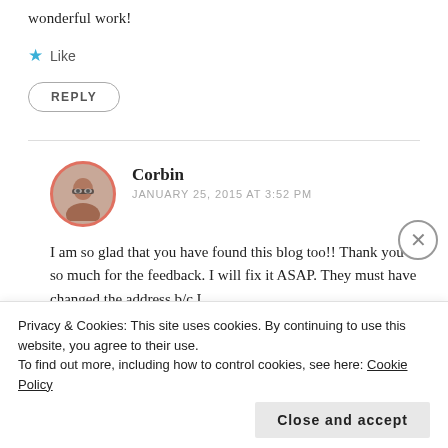wonderful work!
★ Like
REPLY
Corbin
JANUARY 25, 2015 AT 3:52 PM
[Figure (photo): Avatar photo of Corbin, a person with glasses and short dark hair, in a circular frame with red/orange border]
I am so glad that you have found this blog too!! Thank you so much for the feedback. I will fix it ASAP. They must have changed the address b/c I
Privacy & Cookies: This site uses cookies. By continuing to use this website, you agree to their use.
To find out more, including how to control cookies, see here: Cookie Policy
Close and accept